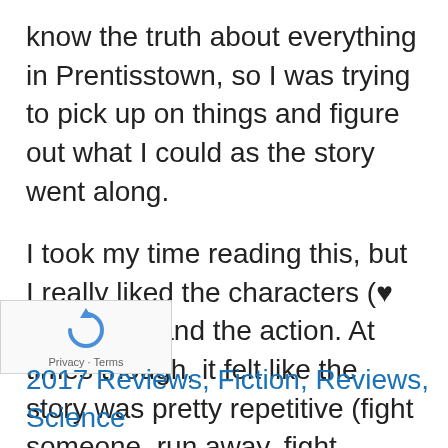know the truth about everything in Prentisstown, so I was trying to pick up on things and figure out what I could as the story went along.
I took my time reading this, but I really liked the characters (♥ Manchee) and the action. At times though, it felt like the story was pretty repetitive (fight someone, run away, fight someone again, get away again, etc.), but overall this was a captivating story and I definitely want to finish this series.
[Figure (other): reCAPTCHA widget with circular arrow icon and Privacy · Terms text]
2017 Reviews, Fiction, Reviews, Science